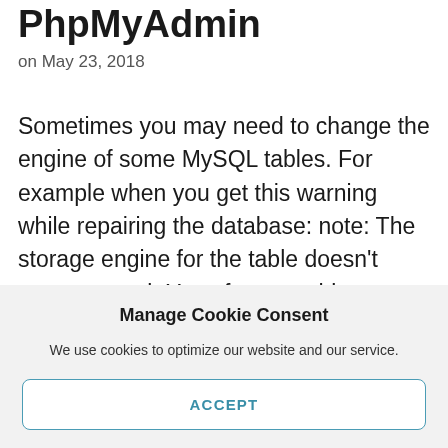PhpMyAdmin
on May 23, 2018
Sometimes you may need to change the engine of some MySQL tables. For example when you get this warning while repairing the database: note: The storage engine for the table doesn't support repair You often see this note while repairing MySQL
Manage Cookie Consent
We use cookies to optimize our website and our service.
ACCEPT